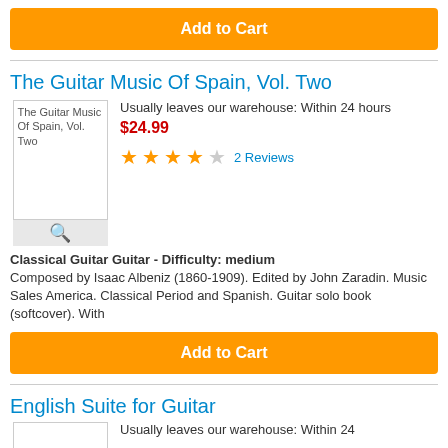Add to Cart
The Guitar Music Of Spain, Vol. Two
Usually leaves our warehouse: Within 24 hours
$24.99
2 Reviews
Classical Guitar Guitar - Difficulty: medium
Composed by Isaac Albeniz (1860-1909). Edited by John Zaradin. Music Sales America. Classical Period and Spanish. Guitar solo book (softcover). With
Add to Cart
English Suite for Guitar